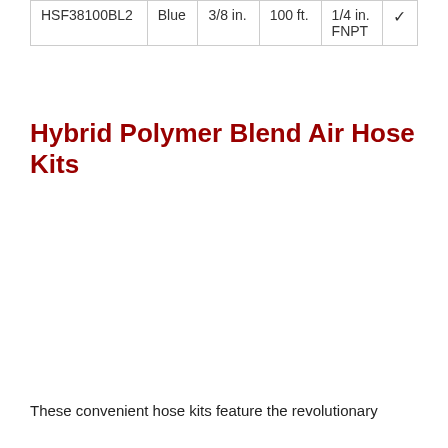| HSF38100BL2 | Blue | 3/8 in. | 100 ft. | 1/4 in.
FNPT | ✓ |
Hybrid Polymer Blend Air Hose Kits
These convenient hose kits feature the revolutionary